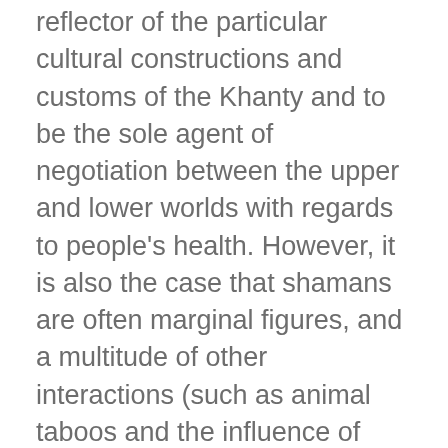reflector of the particular cultural constructions and customs of the Khanty and to be the sole agent of negotiation between the upper and lower worlds with regards to people's health. However, it is also the case that shamans are often marginal figures, and a multitude of other interactions (such as animal taboos and the influence of deceased relatives) are of more importance to an individual's wellbeing. The history of the Khanty is briefly illuminated through an examination of three key periods: the period of Russian expansion, taxation and economic regulation; the period of Soviet oppression of shamans and shamanism; and the period of mineral extractive industry. Each is reported to have caused profound changes in Khanty society which resonate up to the present,